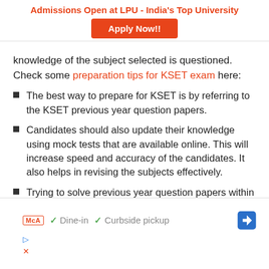Admissions Open at LPU - India's Top University
[Figure (other): Orange Apply Now!! button for LPU admissions]
knowledge of the subject selected is questioned. Check some preparation tips for KSET exam here:
The best way to prepare for KSET is by referring to the KSET previous year question papers.
Candidates should also update their knowledge using mock tests that are available online. This will increase speed and accuracy of the candidates. It also helps in revising the subjects effectively.
Trying to solve previous year question papers within specific time limits is also a good idea to
[Figure (other): Advertisement overlay showing McA badge, Dine-in and Curbside pickup options with direction icon, and play/close controls]